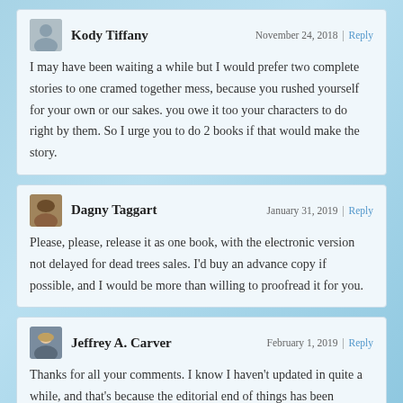Kody Tiffany — November 24, 2018 | Reply
I may have been waiting a while but I would prefer two complete stories to one cramed together mess, because you rushed yourself for your own or our sakes. you owe it too your characters to do right by them. So I urge you to do 2 books if that would make the story.
Dagny Taggart — January 31, 2019 | Reply
Please, please, release it as one book, with the electronic version not delayed for dead trees sales. I'd buy an advance copy if possible, and I would be more than willing to proofread it for you.
Jeffrey A. Carver — February 1, 2019 | Reply
Thanks for all your comments. I know I haven't updated in quite a while, and that's because the editorial end of things has been moving